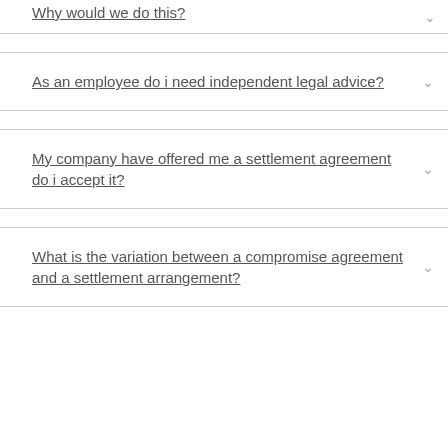Why would we do this?
As an employee do i need independent legal advice?
My company have offered me a settlement agreement do i accept it?
What is the variation between a compromise agreement and a settlement arrangement?